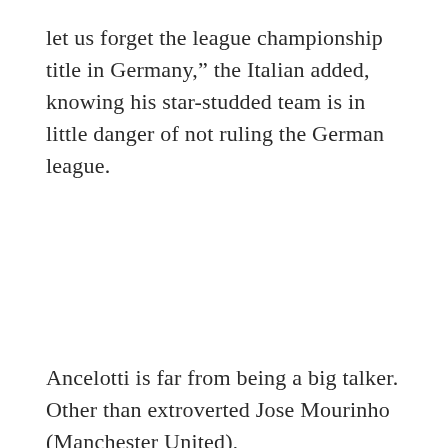let us forget the league championship title in Germany," the Italian added, knowing his star-studded team is in little danger of not ruling the German league.
Ancelotti is far from being a big talker. Other than extroverted Jose Mourinho (Manchester United),